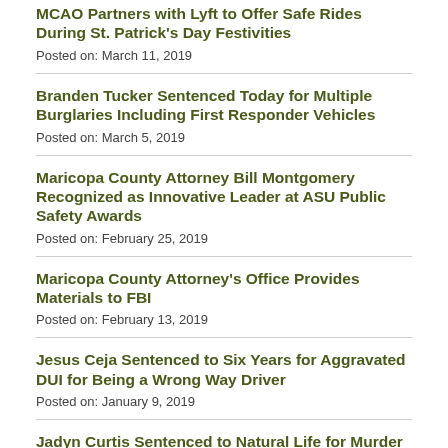MCAO Partners with Lyft to Offer Safe Rides During St. Patrick’s Day Festivities
Posted on: March 11, 2019
Branden Tucker Sentenced Today for Multiple Burglaries Including First Responder Vehicles
Posted on: March 5, 2019
Maricopa County Attorney Bill Montgomery Recognized as Innovative Leader at ASU Public Safety Awards
Posted on: February 25, 2019
Maricopa County Attorney’s Office Provides Materials to FBI
Posted on: February 13, 2019
Jesus Ceja Sentenced to Six Years for Aggravated DUI for Being a Wrong Way Driver
Posted on: January 9, 2019
Jadyn Curtis Sentenced to Natural Life for Murder and